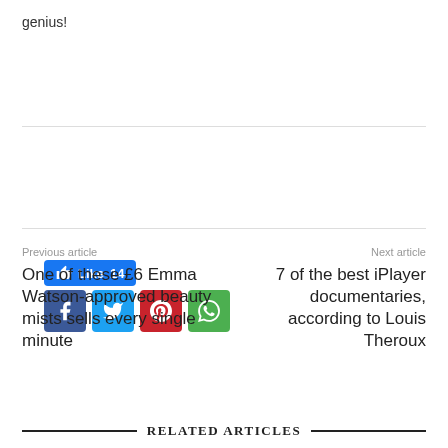genius!
[Figure (screenshot): Social share bar with Like button (count 14) and four social media icon buttons: Facebook (dark blue), Twitter (light blue), Pinterest (red), WhatsApp (green)]
Previous article
One of these £6 Emma Watson-approved beauty mists sells every single minute
Next article
7 of the best iPlayer documentaries, according to Louis Theroux
RELATED ARTICLES